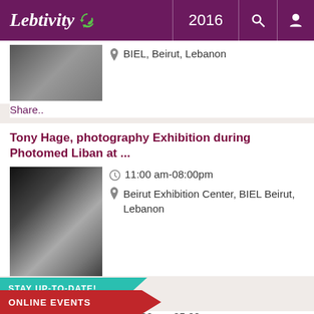Lebtivity 2016
BIEL, Beirut, Lebanon
Share..
Tony Hage, photography Exhibition during Photomed Liban at ...
11:00 am-08:00pm
Beirut Exhibition Center, BIEL Beirut, Lebanon
Share..
STAY UP-TO-DATE! Join our newsletter
ONLINE EVENTS
Sunday Open Buffet at Arnaoon Village
11:30 am-05:00pm
Arnaoon Village, Batroun Highway, Msaylha Fortress Road, Batroun. Lebanon